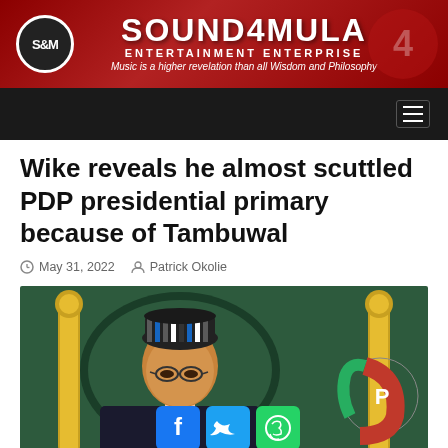[Figure (logo): Sound4Mula Entertainment Enterprise banner with red background, logo circle on left, large text SOUND4MULA, subtitle ENTERTAINMENT ENTERPRISE, tagline Music is a higher revelation than all Wisdom and Philosophy]
Navigation bar with hamburger menu
Wike reveals he almost scuttled PDP presidential primary because of Tambuwal
May 31, 2022  Patrick Okolie
[Figure (photo): Photo of a Nigerian official wearing a striped traditional cap and glasses, seated in an ornate golden chair, with PDP logo visible in background on right side]